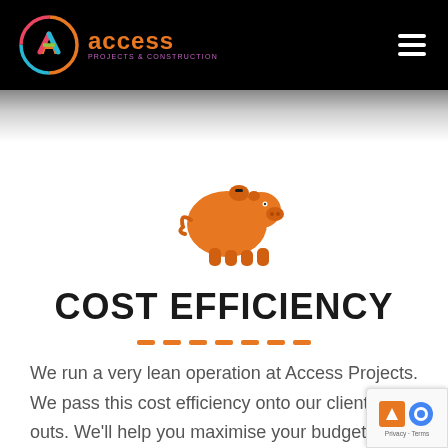[Figure (logo): Access Projects & Construction logo with circular colourful icon and company name on black header bar]
[Figure (illustration): Orange piggy bank icon with coin slot on top]
COST EFFICIENCY
We run a very lean operation at Access Projects. We pass this cost efficiency onto our clients as savings. We'll help you maximise your budget